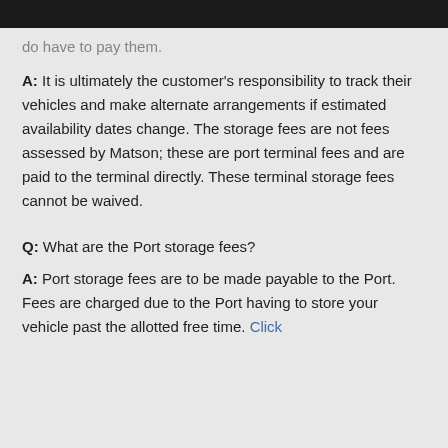do have to pay them.
A: It is ultimately the customer's responsibility to track their vehicles and make alternate arrangements if estimated availability dates change. The storage fees are not fees assessed by Matson; these are port terminal fees and are paid to the terminal directly. These terminal storage fees cannot be waived.
Q: What are the Port storage fees?
A: Port storage fees are to be made payable to the Port. Fees are charged due to the Port having to store your vehicle past the allotted free time. Click